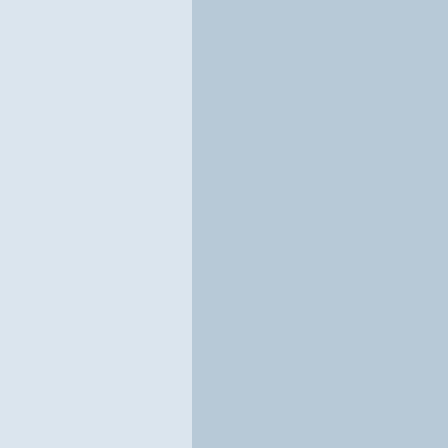[Figure (other): Light blue-grey panel area occupying the right portion of the upper section of the page, appears to be a product image or content panel with a darker lower sub-section.]
Submit review for this product
Call or Text (717-319-2100) or E...
(We are Corona Virus Free but email responses/s...
Copyright © 1999-2022 Burtman Ind...